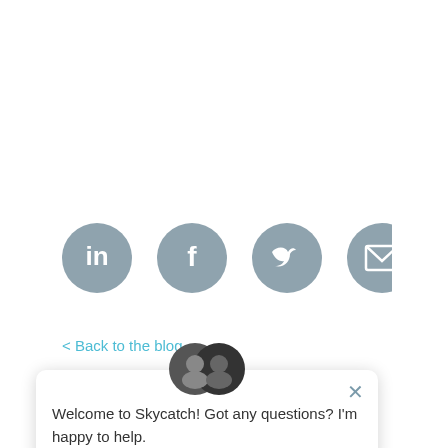[Figure (other): Row of four social media icon circles (LinkedIn, Facebook, Twitter, Email) in gray]
< Back to the blog
[Figure (other): Chat popup with avatar photos at top, close X, message: Welcome to Skycatch! Got any questions? I'm happy to help.]
Sign up to receive Skycatch's email newsletter.
[Figure (other): Teal circular chat bubble button]
Enter your email address*